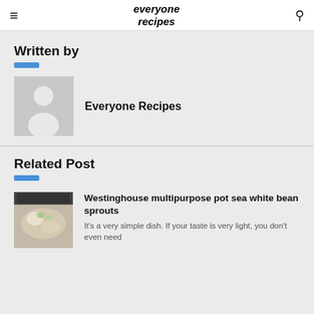everyone recipes
Written by
[Figure (illustration): Default user avatar placeholder with silhouette on grey background]
Everyone Recipes
Related Post
[Figure (photo): Photo of a dish, appears to be seafood/clams with garnish]
Westinghouse multipurpose pot sea white bean sprouts
It's a very simple dish. If your taste is very light, you don't even need